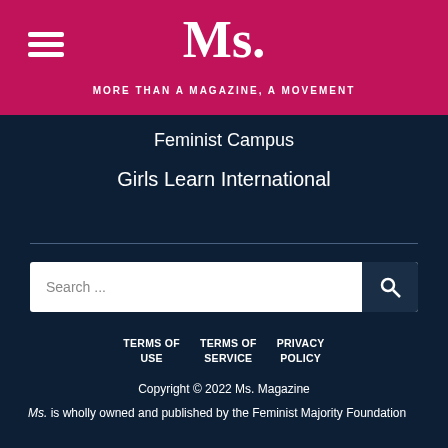Ms. MORE THAN A MAGAZINE, A MOVEMENT
Feminist Campus
Girls Learn International
Search ...
TERMS OF USE   TERMS OF SERVICE   PRIVACY POLICY
Copyright © 2022 Ms. Magazine
Ms. is wholly owned and published by the Feminist Majority Foundation